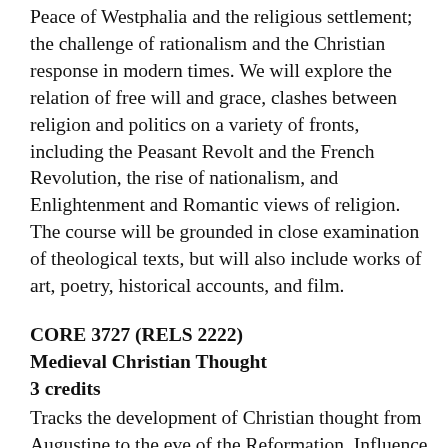Peace of Westphalia and the religious settlement; the challenge of rationalism and the Christian response in modern times. We will explore the relation of free will and grace, clashes between religion and politics on a variety of fronts, including the Peasant Revolt and the French Revolution, the rise of nationalism, and Enlightenment and Romantic views of religion. The course will be grounded in close examination of theological texts, but will also include works of art, poetry, historical accounts, and film.
CORE 3727 (RELS 2222)
Medieval Christian Thought
3 credits
Tracks the development of Christian thought from Augustine to the eve of the Reformation. Influence of Augustine in the West; widening breach between Eastern and Western Christendom; rise of Islam and the interaction of the monotheistic faiths; religious orders and the